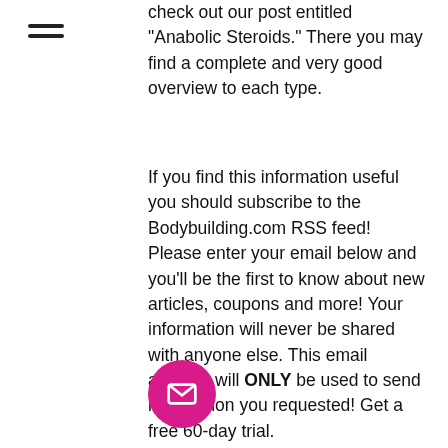[Figure (other): Hamburger menu icon (three horizontal lines)]
check out our post entitled "Anabolic Steroids." There you may find a complete and very good overview to each type.
If you find this information useful you should subscribe to the Bodybuilding.com RSS feed! Please enter your email below and you'll be the first to know about new articles, coupons and more! Your information will never be shared with anyone else. This email address will ONLY be used to send information you requested! Get a free 60-day trial.
Similar articles:
https://www.thecurlytopbakeshop.com/profile/carleeremmie117767/profile
https://www.patrick-com/profile/bobrviz107574/profile
https://www.nobleflightsim.com/profile/brianbartz174226/profile
[Figure (illustration): Pink circular button with envelope/mail icon (FAB button)]